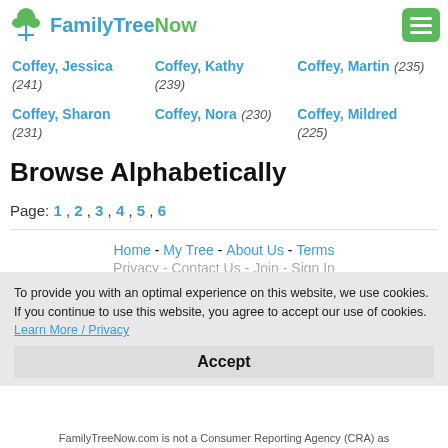FamilyTreeNow
Coffey, Jessica (241)
Coffey, Kathy (239)
Coffey, Martin (235)
Coffey, Sharon (231)
Coffey, Nora (230)
Coffey, Mildred (225)
Browse Alphabetically
Page: 1 , 2 , 3 , 4 , 5 , 6
Home - My Tree - About Us - Terms
Privacy - Contact Us - Join - Sign In
© 2022 FamilyTreeNow.com
Genealogy Directory: A B C D E F G H J K L M N O P R S T V W Y
To provide you with an optimal experience on this website, we use cookies. If you continue to use this website, you agree to accept our use of cookies. Learn More / Privacy
Accept
FamilyTreeNow.com is not a Consumer Reporting Agency (CRA) as